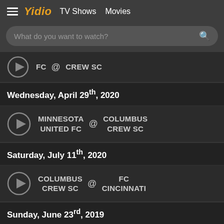Yidio  TV Shows  Movies
What do you want to watch?
FC @ CREW SC
Wednesday, April 29th, 2020
MINNESOTA UNITED FC @ COLUMBUS CREW SC
Saturday, July 11th, 2020
COLUMBUS CREW SC @ FC CINCINNATI
Sunday, June 23rd, 2019
SPORTING KANSAS @ COLUMBUS